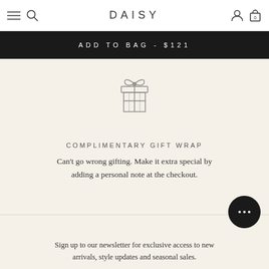DAISY
ADD TO BAG - $121
[Figure (illustration): Gift box icon with bow on top, outline style in gray]
COMPLIMENTARY GIFT WRAP
Can't go wrong gifting. Make it extra special by adding a personal note at the checkout.
[Figure (illustration): Chat bubble icon, dark circular button with ellipsis (...)]
Sign up to our newsletter for exclusive access to new arrivals, style updates and seasonal sales.